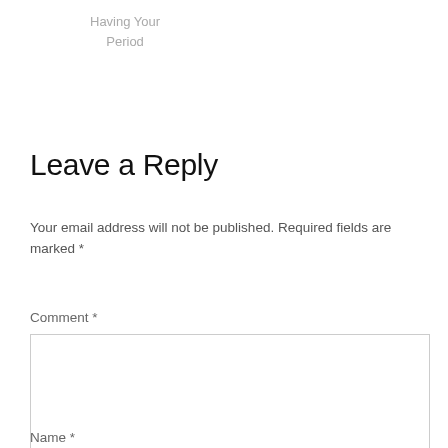Having Your Period
Leave a Reply
Your email address will not be published. Required fields are marked *
Comment *
Name *